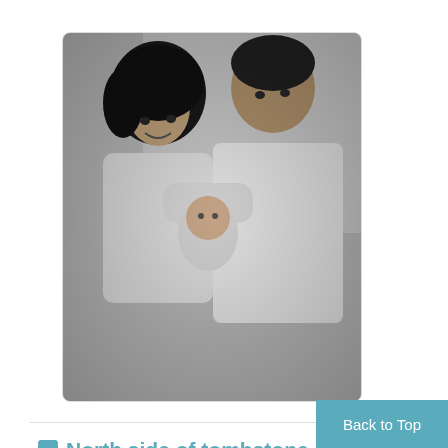[Figure (photo): Black and white photograph of a woman and man holding a newborn baby, likely taken in a hospital setting in 1988.]
North side of tombstone
Repository:
Burnaby Village Museum
Date:
May 6, 1988
Collection/Fonds:
Burnaby Village Museum fonds
Description Level:
Back to Top